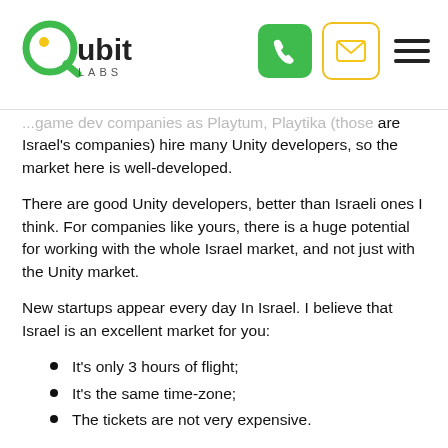Qubit Labs header with logo, phone icon, email icon, and menu icon
...game dev companies as Playtum, Playika (those are Israel's companies) hire many Unity developers, so the market here is well-developed.
There are good Unity developers, better than Israeli ones I think. For companies like yours, there is a huge potential for working with the whole Israel market, and not just with the Unity market.
New startups appear every day In Israel. I believe that Israel is an excellent market for you:
It's only 3 hours of flight;
It's the same time-zone;
The tickets are not very expensive.